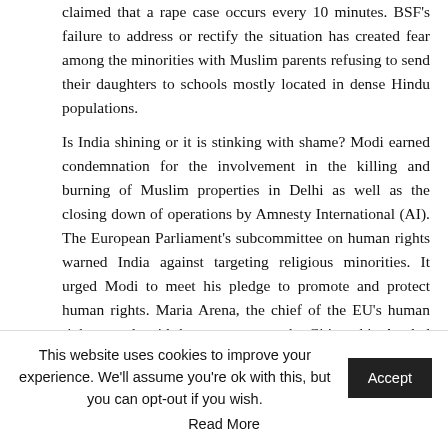claimed that a rape case occurs every 10 minutes. BSF's failure to address or rectify the situation has created fear among the minorities with Muslim parents refusing to send their daughters to schools mostly located in dense Hindu populations. Is India shining or it is stinking with shame? Modi earned condemnation for the involvement in the killing and burning of Muslim properties in Delhi as well as the closing down of operations by Amnesty International (AI). The European Parliament's subcommittee on human rights warned India against targeting religious minorities. It urged Modi to meet his pledge to promote and protect human rights. Maria Arena, the chief of the EU's human rights panel, said the protests over the Citizenship Act led to arbitrary detentions and an unnecessary loss of life. She further highlighted that journalists and peaceful critics were being arrested under the draconian counterterrorism and sedition laws. AI reported that members
This website uses cookies to improve your experience. We'll assume you're ok with this, but you can opt-out if you wish. [Accept] Read More